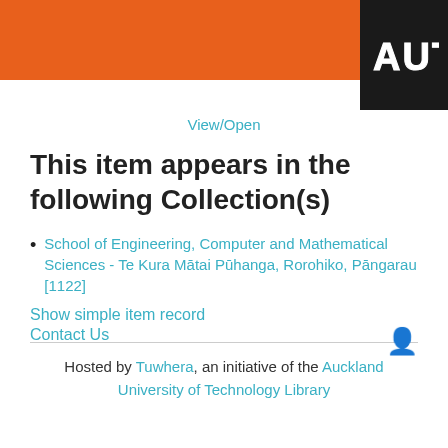[Figure (logo): AUT university logo - white text on black square background]
View/Open
This item appears in the following Collection(s)
School of Engineering, Computer and Mathematical Sciences - Te Kura Mātai Pūhanga, Rorohiko, Pāngarau [1122]
Show simple item record
Contact Us
Hosted by Tuwhera, an initiative of the Auckland University of Technology Library